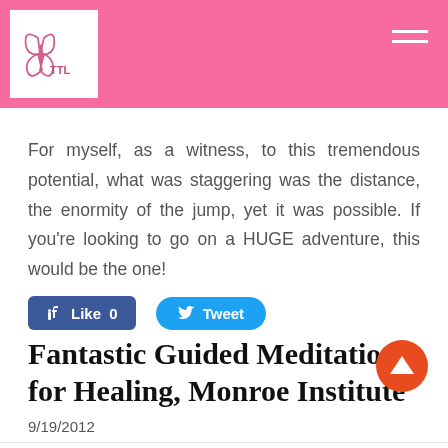TTL logo and navigation header bar
For myself, as a witness, to this tremendous potential, what was staggering was the distance, the enormity of the jump, yet it was possible.  If you're looking to go on a HUGE adventure, this would be the one!
[Figure (other): Facebook Like button (count: 0) and Twitter Tweet button]
Fantastic Guided Meditation for Healing, Monroe Institute
9/19/2012